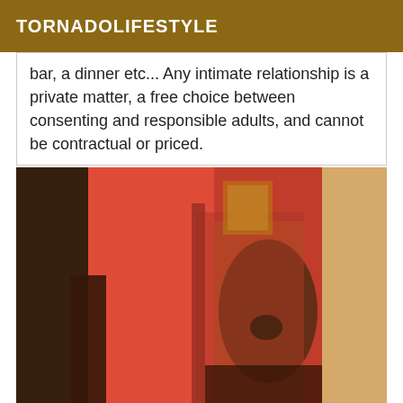TORNADOLIFESTYLE
bar, a dinner etc... Any intimate relationship is a private matter, a free choice between consenting and responsible adults, and cannot be contractual or priced.
[Figure (photo): A person wearing a red dress, photo is blurred/out of focus, indoor setting with warm tones.]